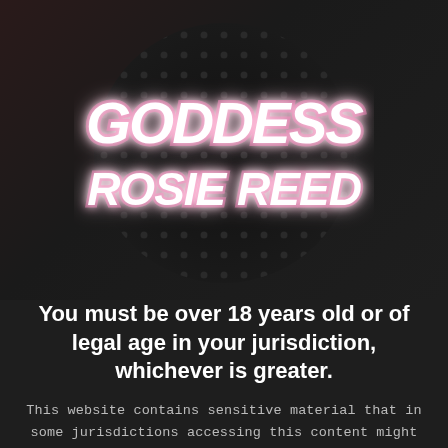[Figure (logo): Circular halftone dot pattern background (dark dots on dark background) with neon pink glowing stylized script text reading 'GODDESS ROSIE REED' arranged in two lines]
You must be over 18 years old or of legal age in your jurisdiction, whichever is greater.
This website contains sensitive material that in some jurisdictions accessing this content might be considered